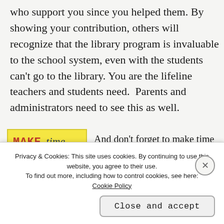who support you since you helped them. By showing your contribution, others will recognize that the library program is invaluable to the school system, even with the students can't go to the library. You are the lifeline teachers and students need.  Parents and administrators need to see this as well.
[Figure (illustration): Yellow illustrated card with 'MAKE time For YOURSELF' text in stylized handwritten fonts]
And don't forget to make time for yourself. I saw one meme
Privacy & Cookies: This site uses cookies. By continuing to use this website, you agree to their use.
To find out more, including how to control cookies, see here:
Cookie Policy